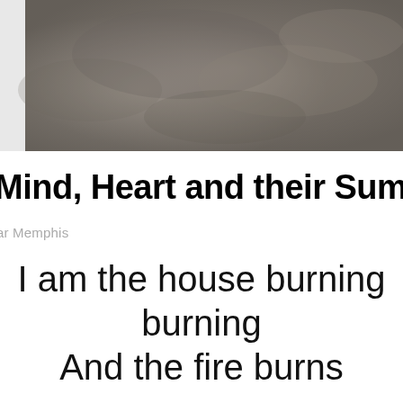[Figure (photo): A blurry, muted photograph with smoky gray-brown tones, suggesting haze or smoke, occupying the top portion of the page.]
Mind, Heart and their Sum
ar Memphis
I am the house burning
And the fire burns